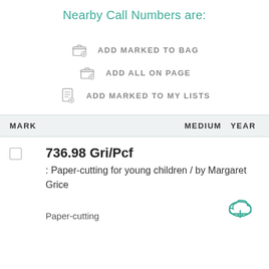Nearby Call Numbers are:
ADD MARKED TO BAG
ADD ALL ON PAGE
ADD MARKED TO MY LISTS
| MARK |  | MEDIUM | YEAR |
| --- | --- | --- | --- |
| ☐ | 736.98 Gri/Pcf : Paper-cutting for young children / by Margaret Grice | Paper-cutting |  |
Paper-cutting